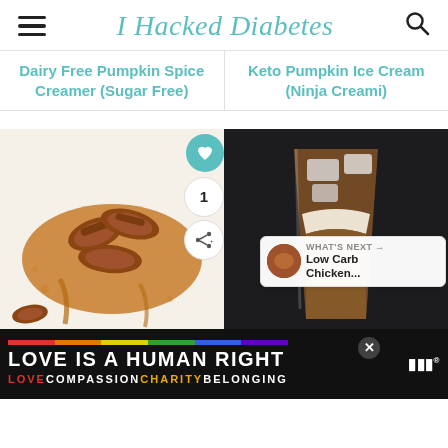I Hacked Diabetes
Dairy Free Pumpkin Spice Creamer (Sugar Free)
Keto Pumpkin Ice Cream (Ninja Creami)
[Figure (photo): Candied pecans with caramel sauce on a white surface with cinnamon]
[Figure (photo): Iced coffee drink with cream layered in a glass on a dark background]
WHAT'S NEXT → Low Carb Chicken...
[Figure (screenshot): Advertisement banner: LOVE IS A HUMAN RIGHT with LOVE COMPASSION CHARITY BELONGING in colored text]